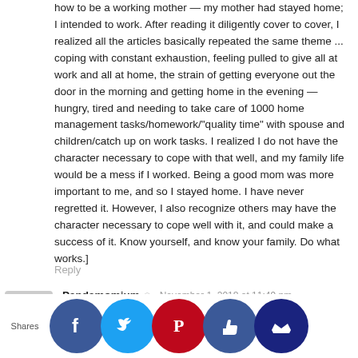how to be a working mother — my mother had stayed home; I intended to work. After reading it diligently cover to cover, I realized all the articles basically repeated the same theme ... coping with constant exhaustion, feeling pulled to give all at work and all at home, the strain of getting everyone out the door in the morning and getting home in the evening — hungry, tired and needing to take care of 1000 home management tasks/homework/"quality time" with spouse and children/catch up on work tasks. I realized I do not have the character necessary to cope with that well, and my family life would be a mess if I worked. Being a good mom was more important to me, and so I stayed home. I have never regretted it. However, I also recognize others may have the character necessary to cope well with it, and could make a success of it. Know yourself, and know your family. Do what works.]
Reply
Pandamomium · November 1, 2018 at 11:49 pm
Hi... twin mo...re, there...been a lo...great cl...s but...ink I s...about...e abo... sharing jobs soon after becoming a new mom...My advice ot...